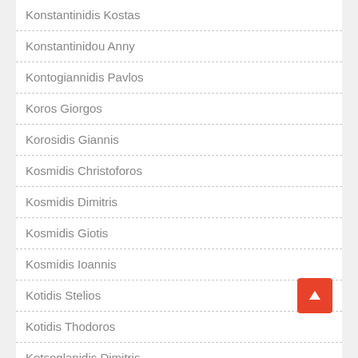Konstantinidis Kostas
Konstantinidou Anny
Kontogiannidis Pavlos
Koros Giorgos
Korosidis Giannis
Kosmidis Christoforos
Kosmidis Dimitris
Kosmidis Giotis
Kosmidis Ioannis
Kotidis Stelios
Kotidis Thodoros
Kotsoglanidis Dimitris